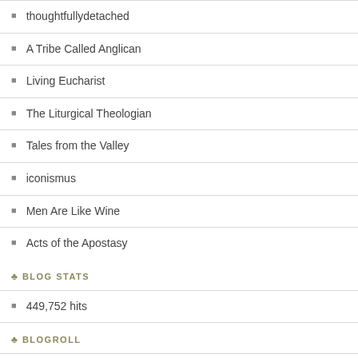thoughtfullydetached
A Tribe Called Anglican
Living Eucharist
The Liturgical Theologian
Tales from the Valley
iconismus
Men Are Like Wine
Acts of the Apostasy
BLOG STATS
449,752 hits
BLOGROLL
Catholicism Pure & Simple A site for orthodox Catholics, but also all orthodox Christians
Coco J. Ginger says